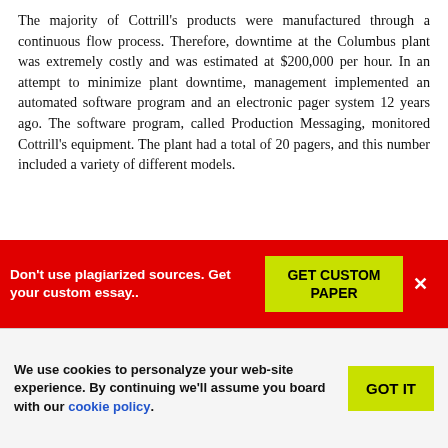The majority of Cottrill's products were manufactured through a continuous flow process. Therefore, downtime at the Columbus plant was extremely costly and was estimated at $200,000 per hour. In an attempt to minimize plant downtime, management implemented an automated software program and an electronic pager system 12 years ago. The software program, called Production Messaging, monitored Cottrill's equipment. The plant had a total of 20 pagers, and this number included a variety of different models.
SPECIFIC PROBLEM:
Several recent events had caused Judy to become dissatisfied with the current arrangement with Tallant. In June, Judy contacted Tallant with a routine request to replace a broken pager. Judy...
[Figure (other): Red promotional banner: 'Don't use plagiarized sources. Get your custom essay..' with a yellow-green 'GET CUSTOM PAPER' button and an X close button]
[Figure (other): Cookie consent banner: 'We use cookies to personalyze your web-site experience. By continuing we'll assume you board with our cookie policy.' with a yellow-green 'GOT IT' button]